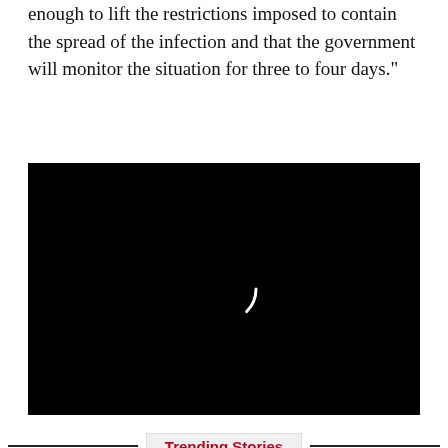enough to lift the restrictions imposed to contain the spread of the infection and that the government will monitor the situation for three to four days."
[Figure (other): Black video player with a white circular loading spinner in the center]
Trending Stories
Kolkata Derby: East Bengal Face ATKMB In Dura
[Figure (other): Advertisement: Join the Outlook Club For Just ₹499]